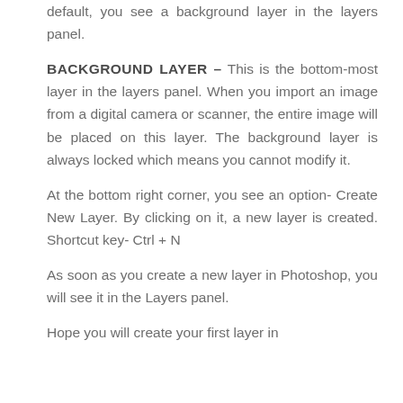default, you see a background layer in the layers panel.
BACKGROUND LAYER – This is the bottom-most layer in the layers panel. When you import an image from a digital camera or scanner, the entire image will be placed on this layer. The background layer is always locked which means you cannot modify it.
At the bottom right corner, you see an option- Create New Layer. By clicking on it, a new layer is created. Shortcut key- Ctrl + N
As soon as you create a new layer in Photoshop, you will see it in the Layers panel.
Hope you will create your first layer in